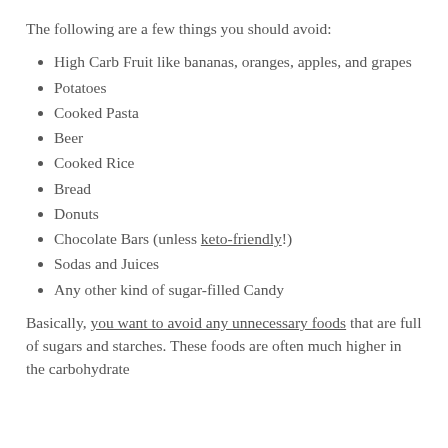The following are a few things you should avoid:
High Carb Fruit like bananas, oranges, apples, and grapes
Potatoes
Cooked Pasta
Beer
Cooked Rice
Bread
Donuts
Chocolate Bars (unless keto-friendly!)
Sodas and Juices
Any other kind of sugar-filled Candy
Basically, you want to avoid any unnecessary foods that are full of sugars and starches. These foods are often much higher in the carbohydrate